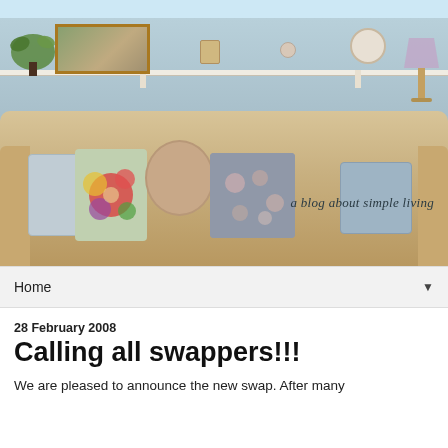[Figure (photo): Blog banner photo showing a beige couch with colorful floral cushions against a grey shiplap wall with a white shelf holding plants, artwork, decorative plates and frames. Text overlay reads 'Down to Earth' and 'a blog about simple living']
Home ▼
28 February 2008
Calling all swappers!!!
We are pleased to announce the new swap. After many